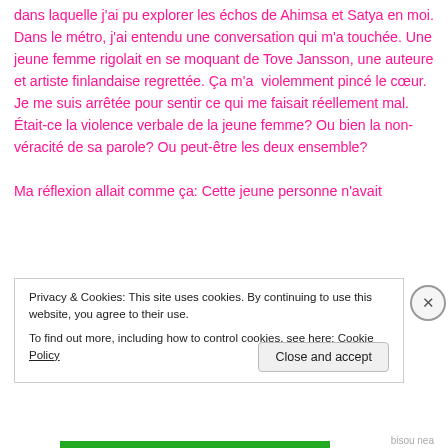dans laquelle j'ai pu explorer les échos de Ahimsa et Satya en moi. Dans le métro, j'ai entendu une conversation qui m'a touchée. Une jeune femme rigolait en se moquant de Tove Jansson, une auteure et artiste finlandaise regrettée. Ça m'a  violemment pincé le cœur. Je me suis arrêtée pour sentir ce qui me faisait réellement mal. Était-ce la violence verbale de la jeune femme? Ou bien la non-véracité de sa parole? Ou peut-être les deux ensemble?
Ma réflexion allait comme ça: Cette jeune personne n'avait
Privacy & Cookies: This site uses cookies. By continuing to use this website, you agree to their use.
To find out more, including how to control cookies, see here: Cookie Policy